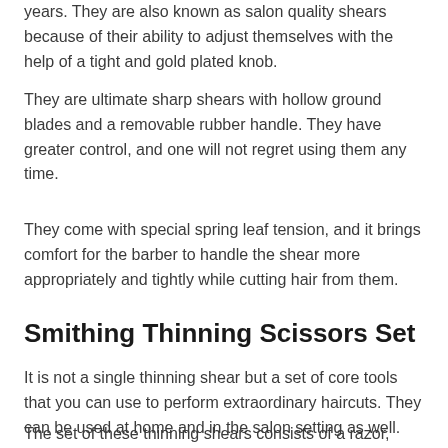years. They are also known as salon quality shears because of their ability to adjust themselves with the help of a tight and gold plated knob.
They are ultimate sharp shears with hollow ground blades and a removable rubber handle. They have greater control, and one will not regret using them any time.
They come with special spring leaf tension, and it brings comfort for the barber to handle the shear more appropriately and tightly while cutting hair from them.
Smithing Thinning Scissors Set
It is not a single thinning shear but a set of core tools that you can use to perform extraordinary haircuts. They can be used at home and in the salon setting as well.
The set of these thinning shears consists of a razor, comb, thinning shears, hairdressing scissors, and a cleaning cloth. The thinning shears